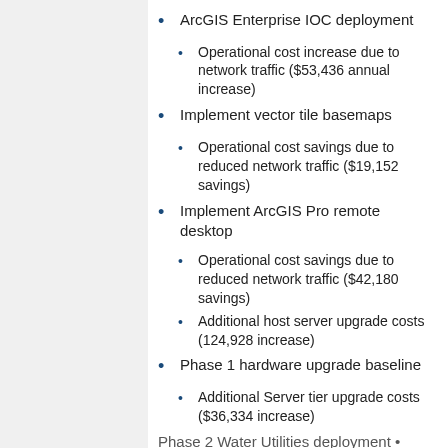ArcGIS Enterprise IOC deployment
Operational cost increase due to network traffic ($53,436 annual increase)
Implement vector tile basemaps
Operational cost savings due to reduced network traffic ($19,152 savings)
Implement ArcGIS Pro remote desktop
Operational cost savings due to reduced network traffic ($42,180 savings)
Additional host server upgrade costs (124,928 increase)
Phase 1 hardware upgrade baseline
Additional Server tier upgrade costs ($36,334 increase)
Phase 2 Water Utilities deployment